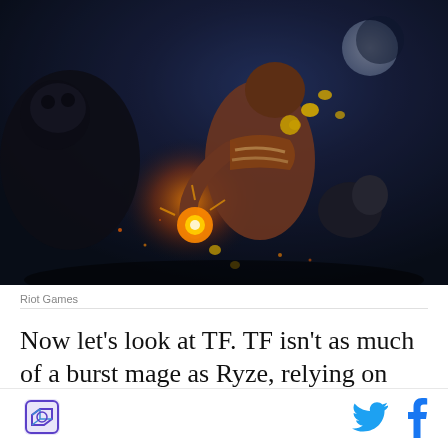[Figure (illustration): League of Legends champion artwork showing a large dark-skinned muscular character in ornate armor holding a glowing artifact, surrounded by dark creatures and coins floating in a dark fantasy night setting. Riot Games promotional art.]
Riot Games
Now let’s look at TF. TF isn’t as much of a burst mage as Ryze, relying on more than just one or two spells to
[Figure (logo): Polygon/Vox Media logo icon — stylized blue/purple geometric shape]
[Figure (logo): Twitter bird icon in cyan blue]
[Figure (logo): Facebook f icon in blue]